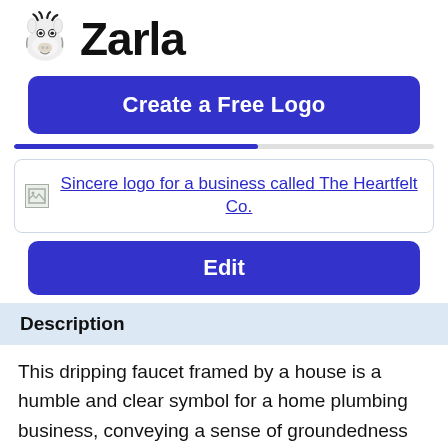[Figure (logo): Zarla website logo — cartoon zebra head illustration next to bold text 'Zarla']
Create a Free Logo
[Figure (screenshot): Broken image thumbnail for logo preview]
Sincere logo for a business called The Heartfelt Co.
Edit
Description
This dripping faucet framed by a house is a humble and clear symbol for a home plumbing business, conveying a sense of groundedness and honest work. The shades of brown reinforce the salt of the earth impression of the logo. The strong terminals